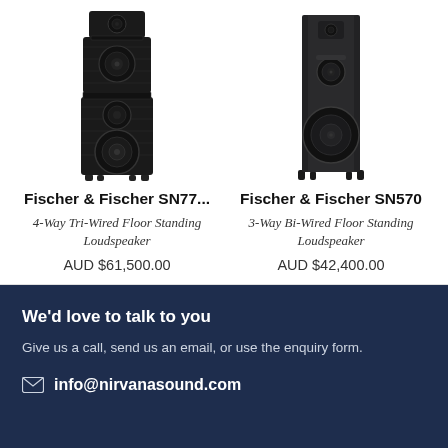[Figure (photo): Fischer & Fischer SN77 tall multi-unit floor standing loudspeaker in black]
[Figure (photo): Fischer & Fischer SN570 tall single-cabinet floor standing loudspeaker in dark grey]
Fischer & Fischer SN77...
4-Way Tri-Wired Floor Standing Loudspeaker
AUD $61,500.00
Fischer & Fischer SN570
3-Way Bi-Wired Floor Standing Loudspeaker
AUD $42,400.00
We'd love to talk to you
Give us a call, send us an email, or use the enquiry form.
info@nirvanasound.com